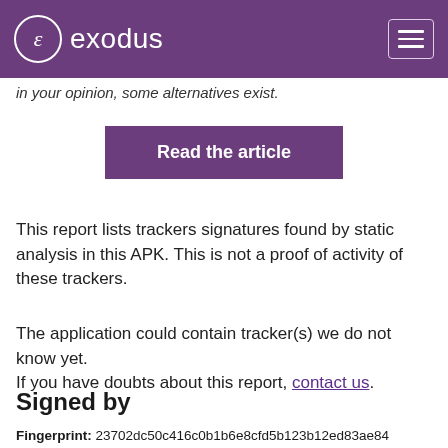exodus
in your opinion, some alternatives exist.
Read the article
This report lists trackers signatures found by static analysis in this APK. This is not a proof of activity of these trackers.
The application could contain tracker(s) we do not know yet.
If you have doubts about this report, contact us.
Signed by
Fingerprint: 23702dc50c416c0b1b6e8cfd5b123b12ed83ae84